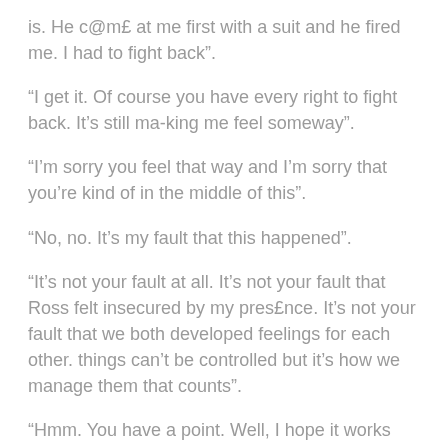is. He c@m£ at me first with a suit and he fired me. I had to fight back".
“I get it. Of course you have every right to fight back. It’s still ma-king me feel someway".
“I’m sorry you feel that way and I’m sorry that you’re kind of in the middle of this".
“No, no. It’s my fault that this happened".
“It’s not your fault at all. It’s not your fault that Ross felt insecured by my pres£nce. It’s not your fault that we both developed feelings for each other. things can’t be controlled but it’s how we manage them that counts".
“Hmm. You have a point. Well, I hope it works out well on both ends".